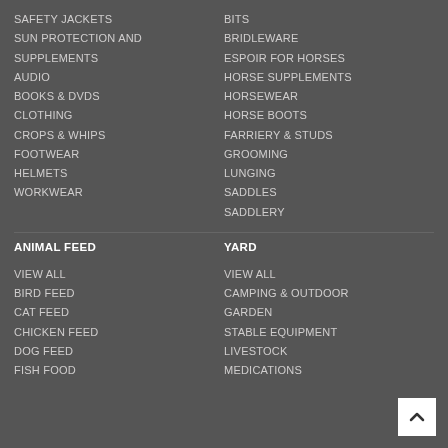SAFETY JACKETS
SUN PROTECTION AND SUPPLEMENTS
AUDIO
BOOKS & DVDS
CLOTHING
CROPS & WHIPS
FOOTWEAR
HELMETS
WORKWEAR
BITS
BRIDLEWARE
ESPOIR FOR HORSES
HORSE SUPPLEMENTS
HORSEWEAR
HORSE BOOTS
FARRIERY & STUDS
GROOMING
LUNGING
SADDLES
SADDLERY
ANIMAL FEED
YARD
VIEW ALL
BIRD FEED
CAT FEED
CHICKEN FEED
DOG FEED
FISH FOOD
VIEW ALL
CAMPING & OUTDOOR
GARDEN
STABLE EQUIPMENT
LIVESTOCK
MEDICATIONS